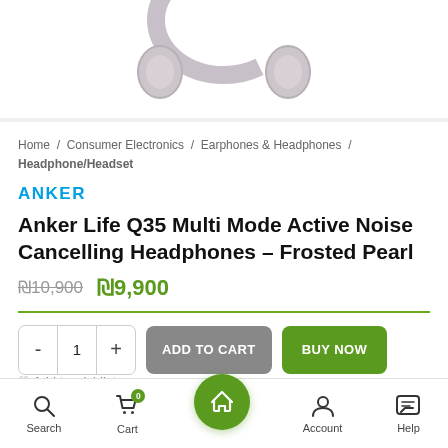[Figure (photo): Partial view of Anker Life Q35 headphones in Frosted Pearl color, bottom portion visible at top of screen]
Home / Consumer Electronics / Earphones & Headphones / Headphone/Headset
ANKER
Anker Life Q35 Multi Mode Active Noise Cancelling Headphones – Frosted Pearl
₪10,900  ₪9,900
- 1 +  ADD TO CART  BUY NOW
Search  Cart 0  Home  Account  Help